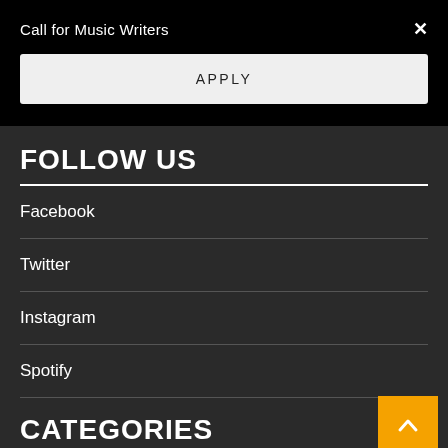Call for Music Writers
APPLY
FOLLOW US
Facebook
Twitter
Instagram
Spotify
CATEGORIES
[Figure (other): Orange back-to-top button with upward chevron arrow]